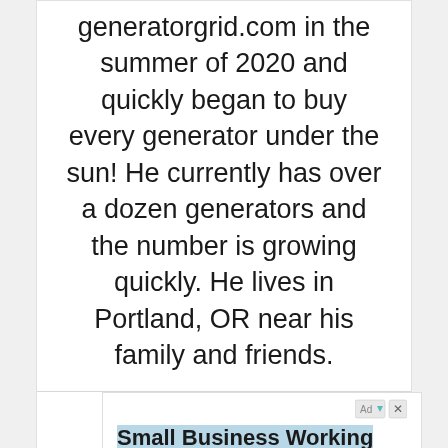generatorgrid.com in the summer of 2020 and quickly began to buy every generator under the sun! He currently has over a dozen generators and the number is growing quickly. He lives in Portland, OR near his family and friends.
[Figure (other): Social media icons: GitHub, LinkedIn, YouTube, Twitter]
[Figure (other): Advertisement: Small Business Working Capital - Our Team Quickly Reviews Your File For The Best Solution Possible For Your]